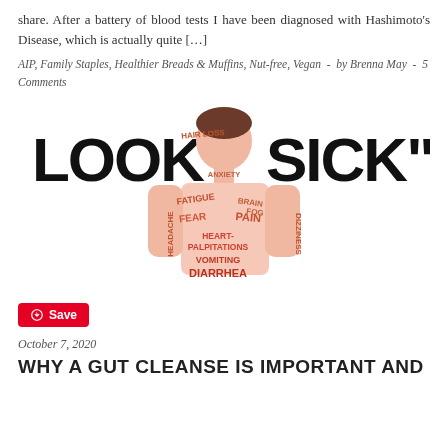share. After a battery of blood tests I have been diagnosed with Hashimoto's Disease, which is actually quite […]
AIP, Family Staples, Healthier Breads & Muffins, Nut-free, Vegan - by Brenna May - 5 Comments
[Figure (illustration): Illustration of a person with symptoms of invisible illness written across their body: HAIR LOSS, ANXIETY, FATIGUE, BRAIN FOG, FEAR, PAIN, HEART-PALPITATIONS, VOMITING, DIARRHEA, HEADACHE, DIZZINESS. Large text reads LOOK SICK.]
Save
October 7, 2020
WHY A GUT CLEANSE IS IMPORTANT AND